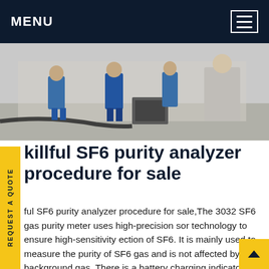MENU
[Figure (photo): Outdoor industrial scene showing workers in blue coveralls operating SF6 gas equipment on a worksite. Equipment and hoses visible on the ground.]
killful SF6 purity analyzer procedure for sale
ful SF6 purity analyzer procedure for sale,The 3032 SF6 gas purity meter uses high-precision sor technology to ensure high-sensitivity ection of SF6. It is mainly used to measure the purity of SF6 gas and is not affected by background gas. There is a battery charging indicator on the analyst and a built-in charger. The detection